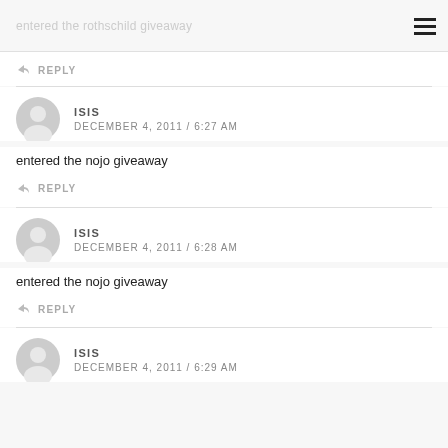entered the rothschild giveaway
REPLY
ISIS
DECEMBER 4, 2011 / 6:27 AM
entered the nojo giveaway
REPLY
ISIS
DECEMBER 4, 2011 / 6:28 AM
entered the nojo giveaway
REPLY
ISIS
DECEMBER 4, 2011 / 6:29 AM